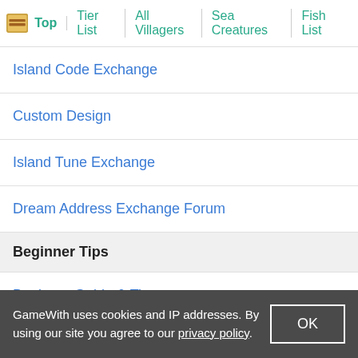Top | Tier List | All Villagers | Sea Creatures | Fish List
Island Code Exchange
Custom Design
Island Tune Exchange
Dream Address Exchange Forum
Beginner Tips
Beginner Guide & Tips
Guides Before Starting To Play
Points of No Return
GameWith uses cookies and IP addresses. By using our site you agree to our privacy policy.